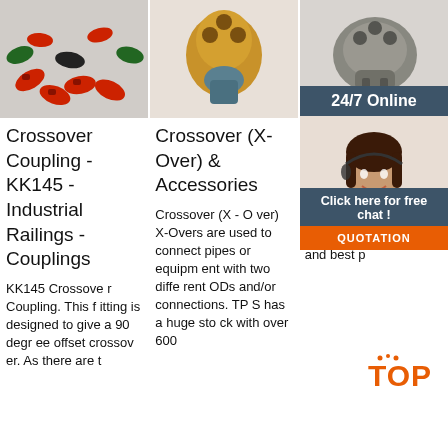[Figure (photo): Colored crossover coupling parts - red, green, black plastic fittings scattered on white surface]
[Figure (photo): Gold/bronze drill bit or PDC bit on light surface]
[Figure (photo): Metal crossover joint or fitting, silver/grey color]
Crossover Coupling - KK145 - Industrial Railings - Couplings
Crossover (X- Over) & Accessories
AP Joi
KK145 Crossover Coupling. This fitting is designed to give a 90 degr ee offset crossov er. As there are t
Crossover (X - O ver) X-Overs are used to connect pipes or equipm ent with two diffe rent ODs and/or connections. TP S has a huge sto ck with over 600
Cro ints ture ess ube Crossover produ cts, each piece i s marked with a distinctive job nu mber and best p
[Figure (photo): 24/7 customer service agent - woman with headset smiling, with '24/7 Online', 'Click here for free chat!' and 'QUOTATION' button overlay]